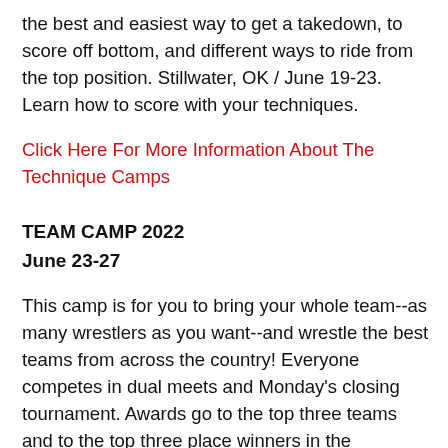the best and easiest way to get a takedown, to score off bottom, and different ways to ride from the top position. Stillwater, OK / June 19-23. Learn how to score with your techniques.
Click Here For More Information About The Technique Camps
TEAM CAMP 2022
June 23-27
This camp is for you to bring your whole team--as many wrestlers as you want--and wrestle the best teams from across the country! Everyone competes in dual meets and Monday's closing tournament. Awards go to the top three teams and to the top three place winners in the tournament. Stillwater, OK / June 23-27. Last year's camp drew 41 teams